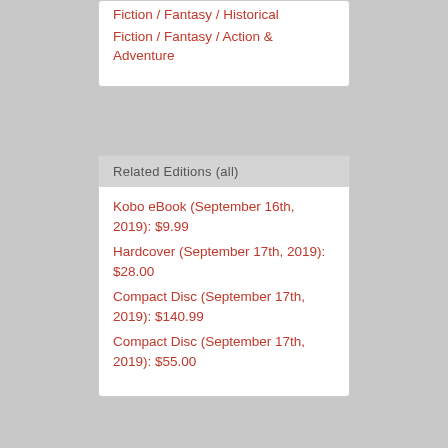Fiction / Fantasy / Historical
Fiction / Fantasy / Action & Adventure
Related Editions (all)
Kobo eBook (September 16th, 2019): $9.99
Hardcover (September 17th, 2019): $28.00
Compact Disc (September 17th, 2019): $140.99
Compact Disc (September 17th, 2019): $55.00